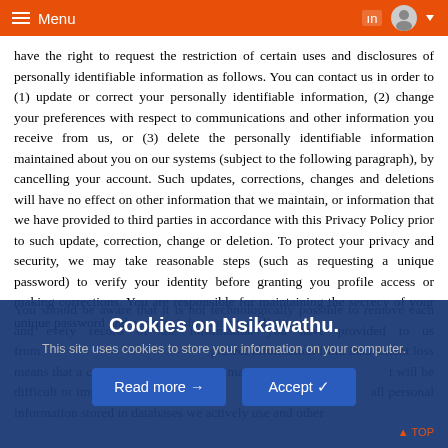Menu
have the right to request the restriction of certain uses and disclosures of personally identifiable information as follows. You can contact us in order to (1) update or correct your personally identifiable information, (2) change your preferences with respect to communications and other information you receive from us, or (3) delete the personally identifiable information maintained about you on our systems (subject to the following paragraph), by cancelling your account. Such updates, corrections, changes and deletions will have no effect on other information that we maintain, or information that we have provided to third parties in accordance with this Privacy Policy prior to such update, correction, change or deletion. To protect your privacy and security, we may take reasonable steps (such as requesting a unique password) to verify your identity before granting you profile access or making corrections. You are responsible for maintaining the secrecy of your unique password and account information at all times.
You should be aware that it is not technologically possible to remove each and every record of the information you have provided to us from our systems. The need to protect information from inadvertent loss means that a copy of your information may exist and will be difficult or impossible for us to destroy prior to retaining your re all personal information stored in databases we actively use and other
Cookies on Nsikawathu.
This site uses cookies to store your information on your computer.